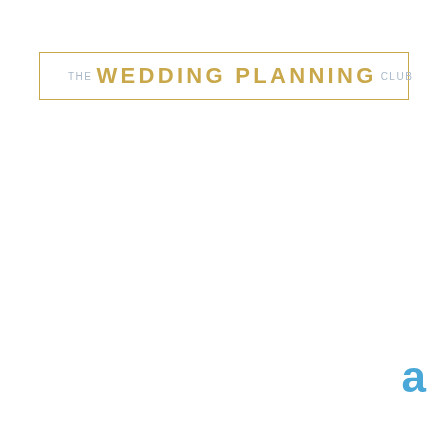[Figure (logo): The Wedding Planning Club logo in a gold rectangular border. Text reads 'THE WEDDING PLANNING CLUB' with 'THE' and 'CLUB' in light blue-grey and 'WEDDING PLANNING' in gold uppercase letters.]
a
and giveaways, we love to share our finds with our members! Plus, on occasion, some of our vendor partners will offer special offers, promo codes, and freebies.

If you want the insider scoop, make sure to click the button and sign up. (note: these are not frequent emails. But when we have